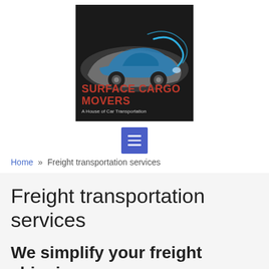[Figure (logo): Surface Cargo Movers logo: dark background with illustrated car in blue and gray, company name in red, tagline 'A House of Car Transportation' in light gray]
[Figure (other): Blue square menu/hamburger button with three white horizontal lines]
Home » Freight transportation services
Freight transportation services
We simplify your freight shipping, we save you money